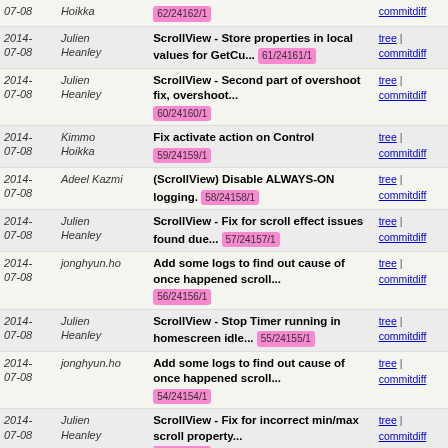| Date | Author | Message | Links |
| --- | --- | --- | --- |
| 2014-07-08 | Kimmo Hoikka | 62/24162/1 | tree | commitdiff |
| 2014-07-08 | Julien Heanley | ScrollView - Store properties in local values for GetCu... 61/24161/1 | tree | commitdiff |
| 2014-07-08 | Julien Heanley | ScrollView - Second part of overshoot fix, overshoot... 60/24160/1 | tree | commitdiff |
| 2014-07-08 | Kimmo Hoikka | Fix activate action on Control 59/24159/1 | tree | commitdiff |
| 2014-07-08 | Adeel Kazmi | (ScrollView) Disable ALWAYS-ON logging. 58/24158/1 | tree | commitdiff |
| 2014-07-08 | Julien Heanley | ScrollView - Fix for scroll effect issues found due... 57/24157/1 | tree | commitdiff |
| 2014-07-08 | jonghyun.ho | Add some logs to find out cause of once happened scroll... 56/24156/1 | tree | commitdiff |
| 2014-07-08 | Julien Heanley | ScrollView - Stop Timer running in homescreen idle... 55/24155/1 | tree | commitdiff |
| 2014-07-08 | jonghyun.ho | Add some logs to find out cause of once happened scroll... 54/24154/1 | tree | commitdiff |
| 2014-07-08 | Julien Heanley | ScrollView - Fix for incorrect min/max scroll property... 53/24153/1 | tree | commitdiff |
| 2014-07-08 | Francisco Santos | Remove animation while panning. 52/24152/1 | tree | commitdiff |
| 2014-06-11 | Agnelo Vaz | TextInput uses style properties for PopUp and Highlight | tree | commitdiff |